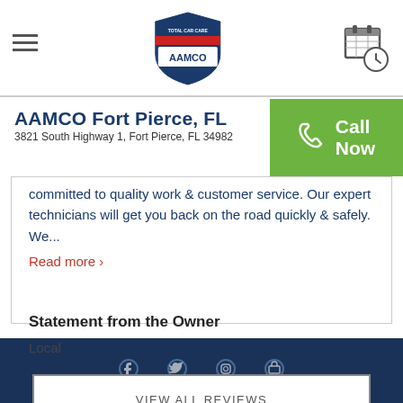AAMCO Fort Pierce, FL — 3821 South Highway 1, Fort Pierce, FL 34982
AAMCO Fort Pierce, FL
3821 South Highway 1, Fort Pierce, FL 34982
committed to quality work & customer service. Our expert technicians will get you back on the road quickly & safely. We...
Read more ›
Statement from the Owner
Local
VIEW ALL REVIEWS